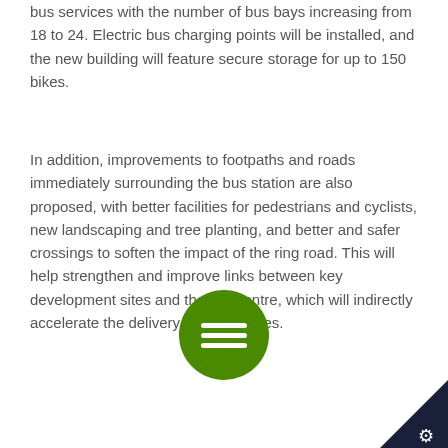bus services with the number of bus bays increasing from 18 to 24. Electric bus charging points will be installed, and the new building will feature secure storage for up to 150 bikes.
In addition, improvements to footpaths and roads immediately surrounding the bus station are also proposed, with better facilities for pedestrians and cyclists, new landscaping and tree planting, and better and safer crossings to soften the impact of the ring road. This will help strengthen and improve links between key development sites and the city centre, which will indirectly accelerate the delivery of stalled sites.
[Figure (other): Green circular menu button with three horizontal white lines (hamburger/menu icon)]
[Figure (logo): Dark navy corner badge with a white gear/copyright icon in the bottom-right corner]